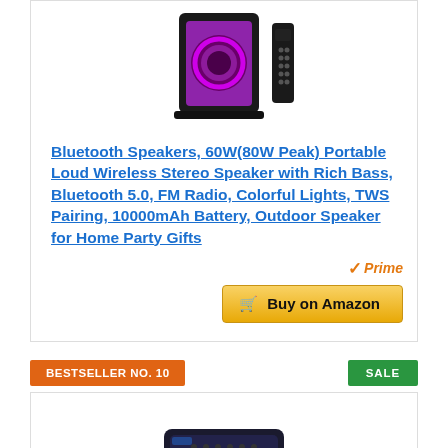[Figure (photo): Bluetooth speaker product image with colorful purple LED light ring and black remote control]
Bluetooth Speakers, 60W(80W Peak) Portable Loud Wireless Stereo Speaker with Rich Bass, Bluetooth 5.0, FM Radio, Colorful Lights, TWS Pairing, 10000mAh Battery, Outdoor Speaker for Home Party Gifts
[Figure (logo): Amazon Prime badge with orange checkmark and italic 'Prime' text in orange]
Buy on Amazon
BESTSELLER NO. 10
SALE
[Figure (photo): Second product image partially visible at bottom of page]